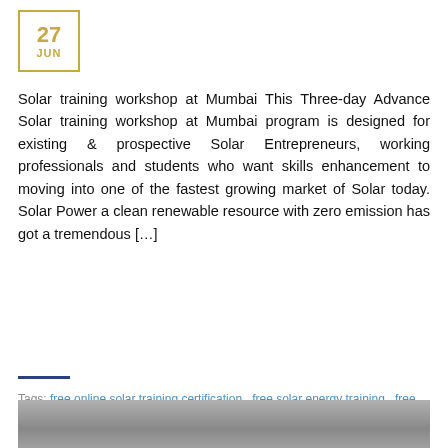[Figure (other): Date badge showing 27 JUN in gold/amber color with square border]
Solar training workshop at Mumbai This Three-day Advance Solar training workshop at Mumbai program is designed for existing & prospective Solar Entrepreneurs, working professionals and students who want skills enhancement to moving into one of the fastest growing market of Solar today. Solar Power a clean renewable resource with zero emission has got a tremendous [...]
Tags: free online solar training certification , free solar energy training , free solar training online free , solar energy training online , solar online training , solar training online
[Figure (photo): Partial photo visible at the bottom of the page, appears to be a solar training related image]